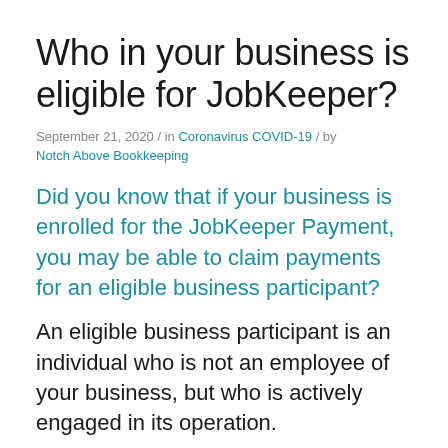Who in your business is eligible for JobKeeper?
September 21, 2020 / in Coronavirus COVID-19 / by Notch Above Bookkeeping
Did you know that if your business is enrolled for the JobKeeper Payment, you may be able to claim payments for an eligible business participant?
An eligible business participant is an individual who is not an employee of your business, but who is actively engaged in its operation.